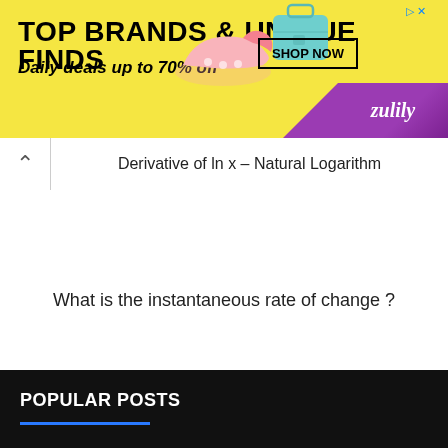[Figure (infographic): Advertisement banner for Zulily — yellow background with text 'TOP BRANDS & UNIQUE FINDS', 'Daily deals up to 70% off', a 'SHOP NOW' button, shoe and bag images, and the Zulily logo on purple background.]
Derivative of ln x – Natural Logarithm
What is the instantaneous rate of change ?
POPULAR POSTS